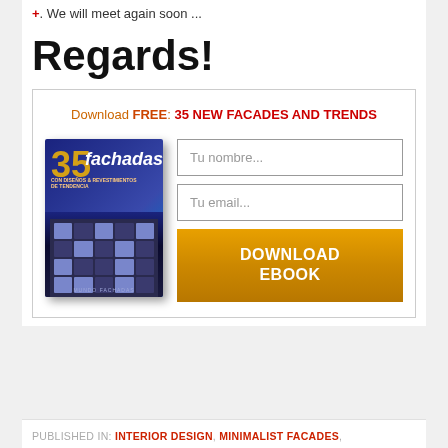+. We will meet again soon ...
Regards!
[Figure (infographic): Ebook download promotional box with book cover image of '35 fachadas con diseños & revestimientos de tendencia', two form fields (Tu nombre..., Tu email...) and a Download Ebook button. Header text: Download FREE: 35 NEW FACADES AND TRENDS]
PUBLISHED IN: INTERIOR DESIGN, MINIMALIST FACADES,